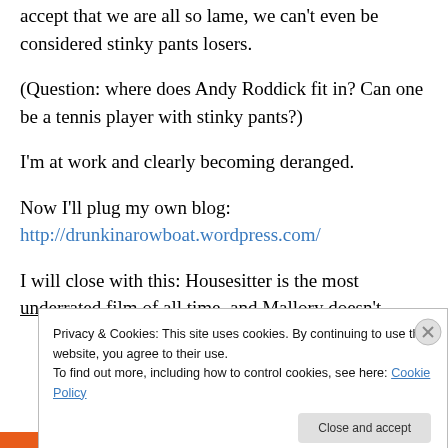accept that we are all so lame, we can't even be considered stinky pants losers.
(Question: where does Andy Roddick fit in? Can one be a tennis player with stinky pants?)
I'm at work and clearly becoming deranged.
Now I'll plug my own blog:
http://drunkinarowboat.wordpress.com/
I will close with this: Housesitter is the most underrated film of all time, and Mallory doesn't
Privacy & Cookies: This site uses cookies. By continuing to use this website, you agree to their use.
To find out more, including how to control cookies, see here: Cookie Policy
Close and accept